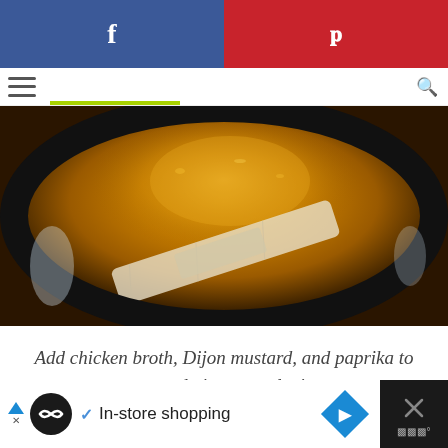Social share bar with Facebook and Pinterest buttons
[Figure (photo): Close-up photo of a pot with golden-orange chicken broth and a packet/bag submerged in it, viewed from above. The liquid is a rich amber/golden color.]
Add chicken broth, Dijon mustard, and paprika to pot and give a good mix.
Ad: In-store shopping